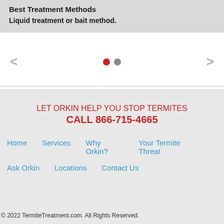Best Treatment Methods
Liquid treatment or bait method.
[Figure (other): Carousel navigation with left arrow, two pagination dots (red and gray), and right arrow]
LET ORKIN HELP YOU STOP TERMITES CALL 866-715-4665
Home
Services
Why Orkin?
Your Termite Threat
Ask Orkin
Locations
Contact Us
© 2022 TermiteTreatment.com. All Rights Reserved.